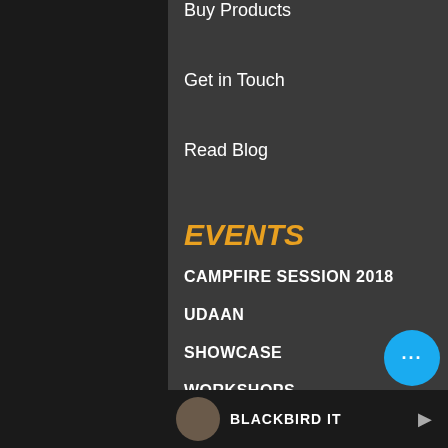Buy Products
Get in Touch
Read Blog
EVENTS
CAMPFIRE SESSION 2018
UDAAN
SHOWCASE
WORKSHOPS
RECENT VIDEOS
[Figure (screenshot): Video thumbnail showing a person with text BLACKBIRD IT partially visible]